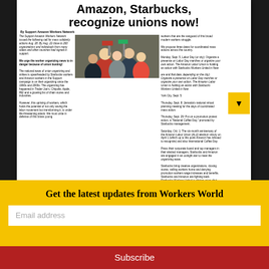Amazon, Starbucks, recognize unions now!
By Support Amazon Workers Network
The Support Amazon Workers Network issued the following call for mass solidarity actions Aug. 28. By Aug. 22 close to 200 organizations and individuals from many states and other countries had signed in support.

We urge the worker organizing news to in danger because of union busting!

The national wave of union organizing and strikes is spearheaded by Starbucks workers and Amazon workers in the Support campaign is on their organizing since the 1990s and 2000s. The organizing has happened in Trader Joe's, Chipotle, Apple, REI and a growing list of chain stores and industries.

However, this uprising of workers, which holds the potential of not only saving the labor movement but transforming it, is under life-threatening attack. We must unite in defense of this brave young workers that are on the vanguard of this broad modern workers struggle.

We propose three dates for coordinated mass actions across the country.

Monday, Sept. 5, Labor Day (or city): Organize a presence on Labor Day marches or organize your own action. The Amazon Labor Union is holding an action with Starbucks Workers United in New York City, Sept. 5.

Thursday, Sept. 8: Jamaica's national virtual planning meeting for the days of coordinated mass action.

Thursday, Sept. 29: Put on a promotion protest action, a 'National Coffee Day,' promoted by Starbucks management.

Saturday, Oct. 1: The six-month anniversary of the Amazon Labor Union (ALU) election victory on April 1 (which up to this point Amazon has refused to recognize) and also International Coffee Day.

Press their corporate board and top managers in their elected managers, Starbucks and Amazon are engaged in an outright war to crush the organizing wave.

Workers bring creative proposals, closing stores, calling workers home and denying promotion workers wage increases and benefits. Starbucks and Amazon are fighting back. Starbucks Workers United is driving union shutdown all.
Amazon Labor Union solidarity election win established office. New York City, April 1.
Philadelphia solidarity with Gaza
A 'Philly Stands with Palestine' march blocked rush hour traffic around Philadelphia's City Hall for an hour Aug. 28 to protest the continued Israeli criminal bombing of the people of Gaza, which has murdered at least 45 children.

After an initial rally on the east side of City Hall, over 150 activists marched in support of the Philadelphia Coalition for Palestine's demands: 'Honor all Palestinian martyr, End the blockade on Gaza, Defend Palestinian resistance' a final call and plans to head back on the west side of City Hall, punctuated at the end by the handing of an Israeli flag.

The PGP is a network of Philadelphia-area Palestinian and Palestinian solidarity organizations, including Students for Justice in Palestine at Temple and Drexel Universities, Council on American Islamic Relations (CAIR-Philadelphia), coalition PFLQ, Black Alliance for Peace, Workers World Party, Philadelphia Coalition for Boycott, Divestment, and Sanction against Israel (Philly BDS), Jewish Voice for Peace Philadelphia, and Effective Philly.
Philadelphia, Aug. 28.   — Report and photo by Joe Phill
Black August tribute
Brianna Griar: Cops lie  3
No justice for Black farmers  3
Get the latest updates from Workers World
Email address
Subscribe